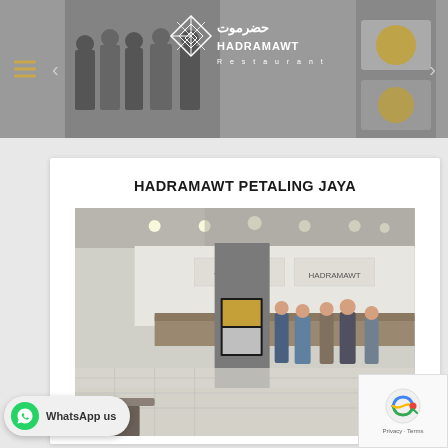[Figure (photo): Hadramawt Restaurant banner with logo centered, food photos on sides, hamburger menu icon on left]
HADRAMAWT PETALING JAYA
[Figure (photo): Interior photo of Hadramawt restaurant at a food court in Petaling Jaya, showing customers queuing at the counter with VEGETARIAN and HADRAMAWT signage visible]
WhatsApp us